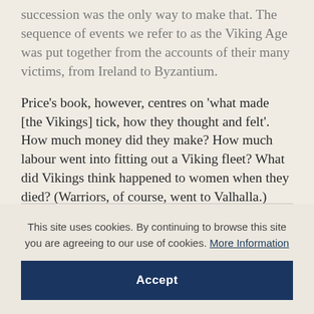succession was the only way to make that. The sequence of events we refer to as the Viking Age was put together from the accounts of their many victims, from Ireland to Byzantium.
Price's book, however, centres on 'what made [the Vikings] tick, how they thought and felt'. How much money did they make? How much labour went into fitting out a Viking fleet? What did Vikings think happened to women when they died? (Warriors, of course, went to Valhalla.) There
This site uses cookies. By continuing to browse this site you are agreeing to our use of cookies. More Information
Accept